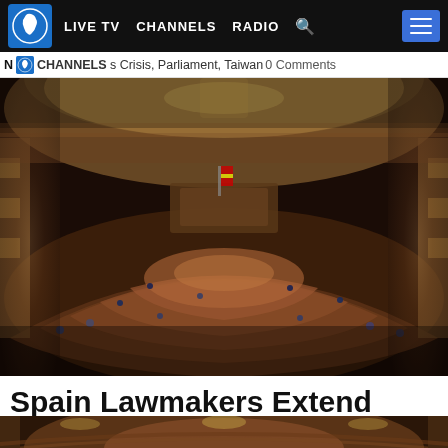LIVE TV  CHANNELS RADIO
N CHANNELS s Crisis, Parliament, Taiwan 0 Comments
[Figure (photo): Aerial view of Spain's Congress of Deputies chamber, showing semicircular rows of wooden seats in a grand ornate hall with golden lighting. Members are socially distanced during a COVID-19 session.]
Spain Lawmakers Extend COVID-19 State Of Emergency
[Figure (photo): Bottom strip showing the lower portion of the same Spanish parliament chamber with ornate architecture and chandeliers.]